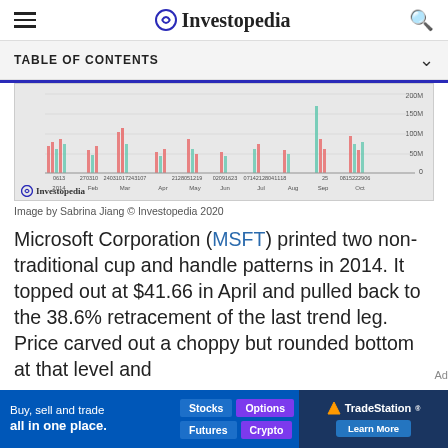Investopedia
TABLE OF CONTENTS
[Figure (bar-chart): Bar chart showing Microsoft (MSFT) trading volume in 2014, with red and teal bars, x-axis showing months from 2014 to Oct, y-axis from 0 to 200M]
Image by Sabrina Jiang © Investopedia 2020
Microsoft Corporation (MSFT) printed two non-traditional cup and handle patterns in 2014. It topped out at $41.66 in April and pulled back to the 38.6% retracement of the last trend leg. Price carved out a choppy but rounded bottom at that level and